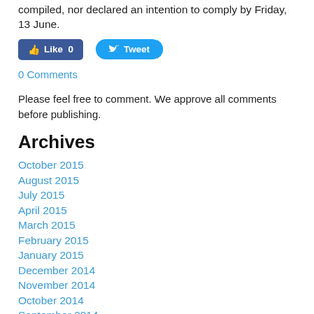compiled, nor declared an intention to comply by Friday, 13 June.
[Figure (other): Facebook Like button (0 likes) and Twitter Tweet button]
0 Comments
Please feel free to comment. We approve all comments before publishing.
Archives
October 2015
August 2015
July 2015
April 2015
March 2015
February 2015
January 2015
December 2014
November 2014
October 2014
September 2014